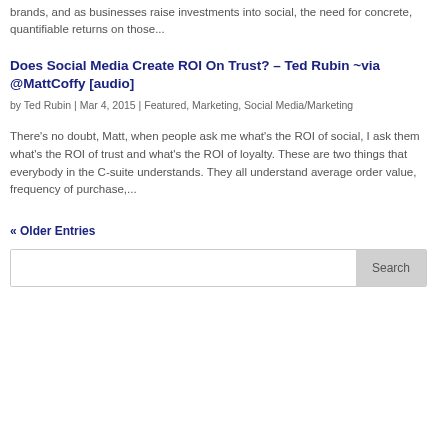brands, and as businesses raise investments into social, the need for concrete, quantifiable returns on those...
Does Social Media Create ROI On Trust? – Ted Rubin ~via @MattCoffy [audio]
by Ted Rubin | Mar 4, 2015 | Featured, Marketing, Social Media/Marketing
There's no doubt, Matt, when people ask me what's the ROI of social, I ask them what's the ROI of trust and what's the ROI of loyalty. These are two things that everybody in the C-suite understands. They all understand average order value, frequency of purchase,...
« Older Entries